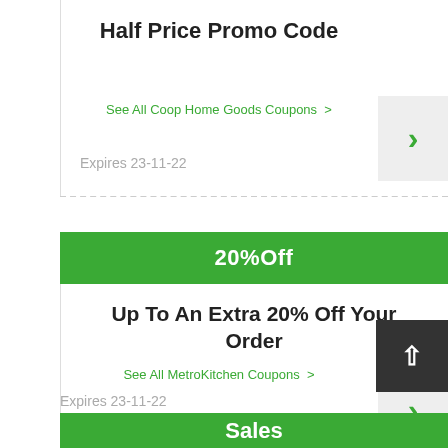Half Price Promo Code
See All Coop Home Goods Coupons >
Expires 23-11-22
20%Off
Up To An Extra 20% Off Your Order
See All MetroKitchen Coupons >
Expires 23-11-22
Sales